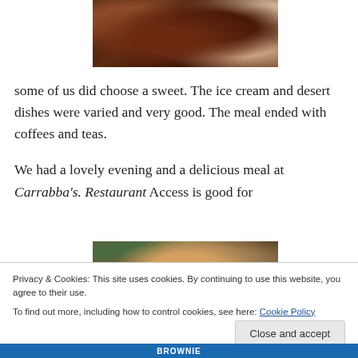[Figure (photo): Close-up photo of a cooked meat dish, dark braised or roasted meat with sauce on a plate, partially visible from top]
some of us did choose a sweet. The ice cream and desert dishes were varied and very good.  The meal ended with coffees and teas.

We had a lovely evening and a delicious meal at Carrabba's. Restaurant Access is good for
[Figure (photo): Photo of a wooden barrel or table with a plate/bowl visible, restaurant interior setting]
Privacy & Cookies: This site uses cookies. By continuing to use this website, you agree to their use.
To find out more, including how to control cookies, see here: Cookie Policy
Close and accept